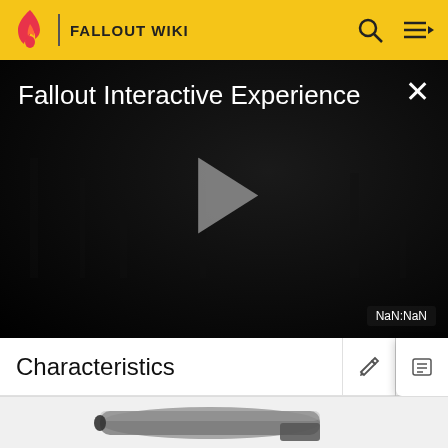FALLOUT WIKI
[Figure (screenshot): Fallout Interactive Experience video thumbnail — dark atmospheric scene with trees, play button overlay, NaN:NaN duration, close button]
Characteristics
[Figure (photo): Grayscale image of a pipe pistol / pipe weapon item from Fallout]